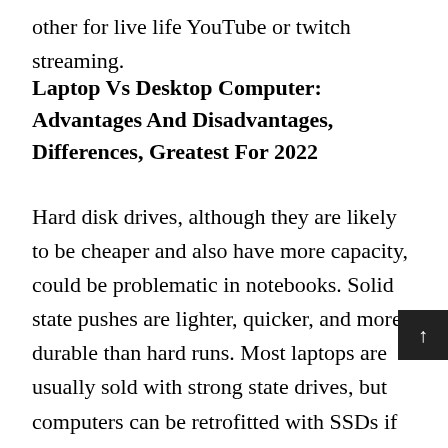other for live life YouTube or twitch streaming.
Laptop Vs Desktop Computer: Advantages And Disadvantages, Differences, Greatest For 2022
Hard disk drives, although they are likely to be cheaper and also have more capacity, could be problematic in notebooks. Solid state pushes are lighter, quicker, and more durable than hard runs. Most laptops are usually sold with strong state drives, but computers can be retrofitted with SSDs if they didn't occur to come with 1. The most essential specs to look at for visual design are the particular operating-system, CPU, the memory or RAM, the storage drive, the display kind and size,